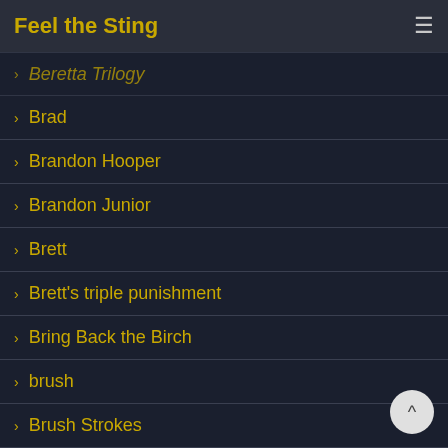Feel the Sting
Beretta Trilogy
Brad
Brandon Hooper
Brandon Junior
Brett
Brett's triple punishment
Bring Back the Birch
brush
Brush Strokes
Burned by Temptation
cane
caption quiz